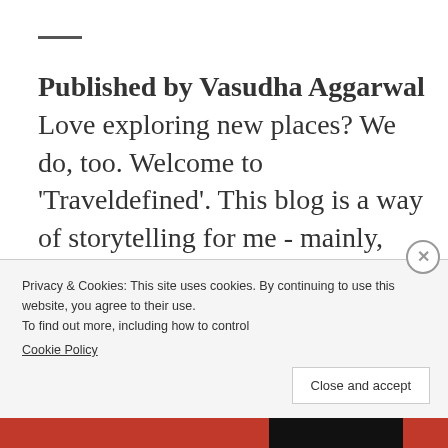Published by Vasudha Aggarwal Love exploring new places? We do, too. Welcome to 'Traveldefined'. This blog is a way of storytelling for me - mainly, about our travel adventures. My Husband and I - we are fond of touring
Privacy & Cookies: This site uses cookies. By continuing to use this website, you agree to their use. To find out more, including how to control Cookie Policy